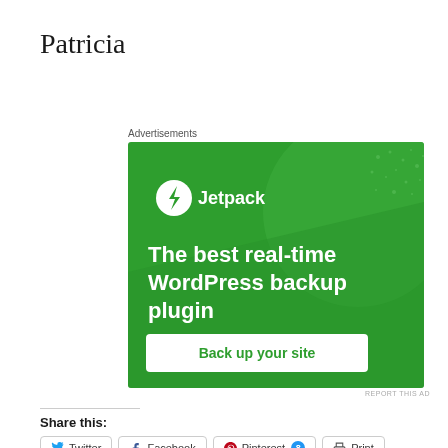Patricia
Advertisements
[Figure (other): Jetpack advertisement — green background with large circle graphic. Shows Jetpack logo (lightning bolt icon) and text: 'The best real-time WordPress backup plugin' with a white button 'Back up your site']
REPORT THIS AD
Share this:
Twitter
Facebook
Pinterest 8
Print
Email